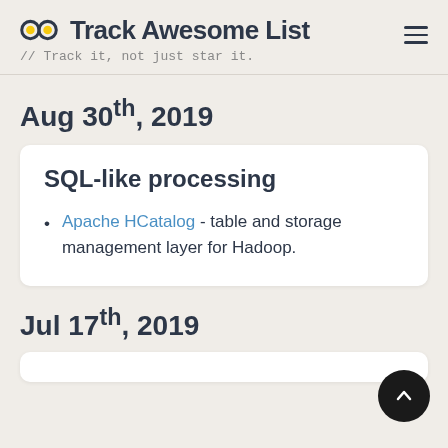Track Awesome List // Track it, not just star it.
Aug 30th, 2019
SQL-like processing
Apache HCatalog - table and storage management layer for Hadoop.
Jul 17th, 2019